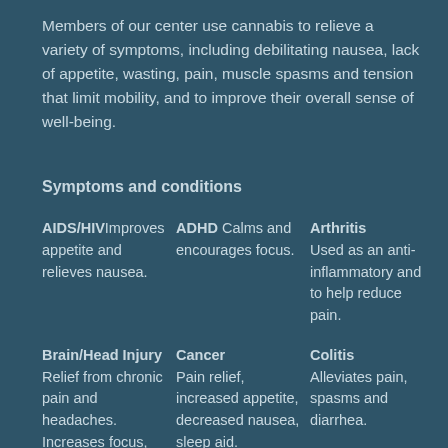Members of our center use cannabis to relieve a variety of symptoms, including debilitating nausea, lack of appetite, wasting, pain, muscle spasms and tension that limit mobility, and to improve their overall sense of well-being.
Symptoms and conditions
AIDS/HIV Improves appetite and relieves nausea.
ADHD Calms and encourages focus.
Arthritis Used as an anti-inflammatory and to help reduce pain.
Brain/Head Injury Relief from chronic pain and headaches. Increases focus, concentration, and mobility. Decreases
Cancer Pain relief, increased appetite, decreased nausea, sleep aid.
Colitis Alleviates pain, spasms and diarrhea.
Chemotherapy Helps to reduce or eliminate nausea.